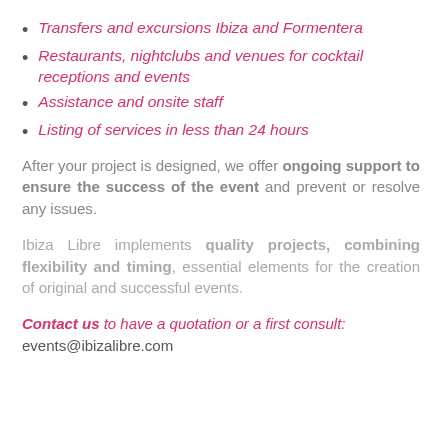Transfers and excursions Ibiza and Formentera
Restaurants, nightclubs and venues for cocktail receptions and events
Assistance and onsite staff
Listing of services in less than 24 hours
After your project is designed, we offer ongoing support to ensure the success of the event and prevent or resolve any issues.
Ibiza Libre implements quality projects, combining flexibility and timing, essential elements for the creation of original and successful events.
Contact us to have a quotation or a first consult: events@ibizalibre.com